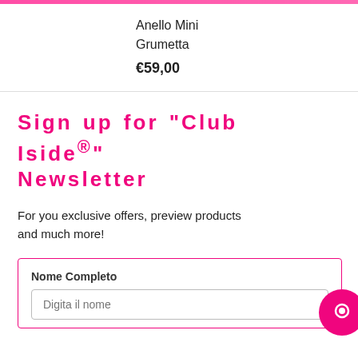Anello Mini
Grumetta
€59,00
Sign up for "Club Iside®" Newsletter
For you exclusive offers, preview products and much more!
Nome Completo
Digita il nome